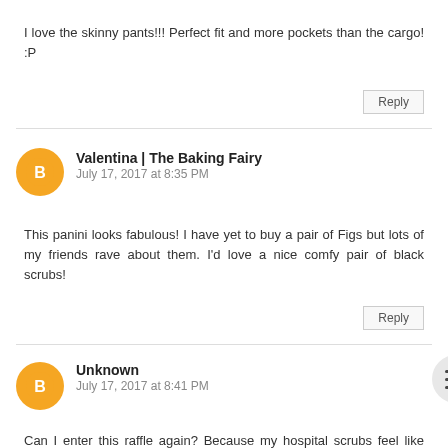I love the skinny pants!!! Perfect fit and more pockets than the cargo! :P
Reply
Valentina | The Baking Fairy
July 17, 2017 at 8:35 PM
This panini looks fabulous! I have yet to buy a pair of Figs but lots of my friends rave about them. I'd love a nice comfy pair of black scrubs!
Reply
Unknown
July 17, 2017 at 8:41 PM
Can I enter this raffle again? Because my hospital scrubs feel like polyester soaked in starch and comfy scrubs